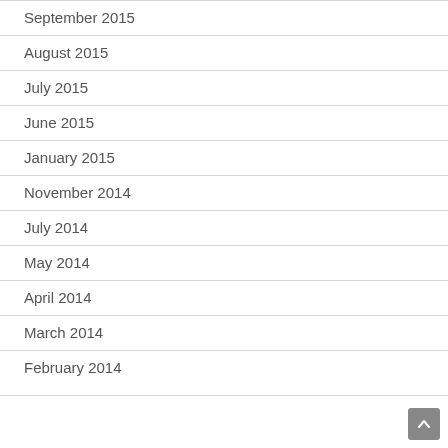September 2015
August 2015
July 2015
June 2015
January 2015
November 2014
July 2014
May 2014
April 2014
March 2014
February 2014